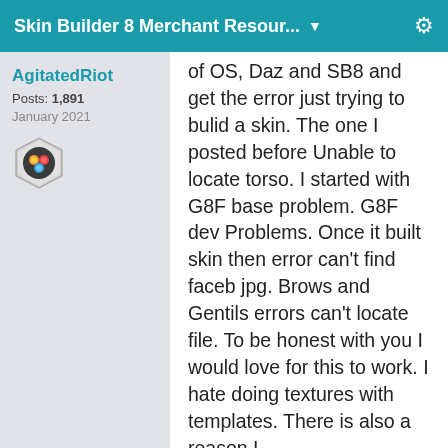Skin Builder 8 Merchant Resour... ▼
AgitatedRiot
Posts: 1,891
January 2021
[Figure (illustration): User avatar icon showing a hexagonal badge with a colorful character]
of OS, Daz and SB8 and get the error just trying to bulid a skin. The one I posted before Unable to locate torso. I started with G8F base problem. G8F dev Problems. Once it built skin then error can't find faceb jpg. Brows and Gentils errors can't locate file. To be honest with you I would love for this to work. I hate doing textures with templates. There is also a reason I buy Interactive Licenses to my products.